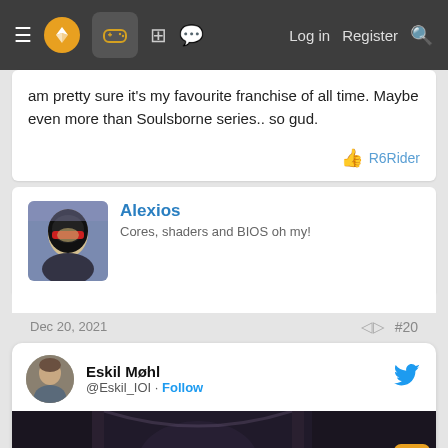Navigation bar with menu, logo, controller icon, grid icon, chat icon, Log in, Register, Search
am pretty sure it's my favourite franchise of all time. Maybe even more than Soulsborne series.. so gud.
R6Rider
Alexios
Cores, shaders and BIOS oh my!
Dec 20, 2021
#20
Eskil Møhl
@Eskil_IOI · Follow
[Figure (screenshot): Embedded Twitter/X post by @Eskil_IOI with a dark fantasy scene video preview showing 'Watch on Twitter' overlay with orange scroll up/down buttons]